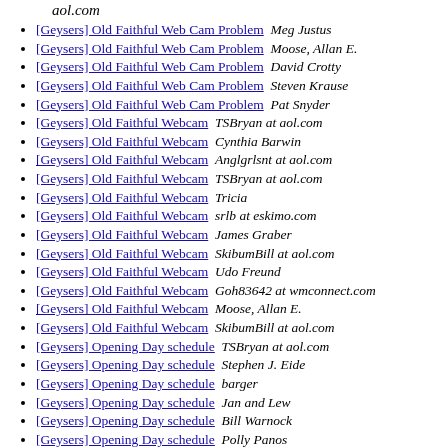aol.com
[Geysers] Old Faithful Web Cam Problem   Meg Justus
[Geysers] Old Faithful Web Cam Problem   Moose, Allan E.
[Geysers] Old Faithful Web Cam Problem   David Crotty
[Geysers] Old Faithful Web Cam Problem   Steven Krause
[Geysers] Old Faithful Web Cam Problem   Pat Snyder
[Geysers] Old Faithful Webcam   TSBryan at aol.com
[Geysers] Old Faithful Webcam   Cynthia Barwin
[Geysers] Old Faithful Webcam   Anglgrlsnt at aol.com
[Geysers] Old Faithful Webcam   TSBryan at aol.com
[Geysers] Old Faithful Webcam   Tricia
[Geysers] Old Faithful Webcam   srlb at eskimo.com
[Geysers] Old Faithful Webcam   James Graber
[Geysers] Old Faithful Webcam   SkibumBill at aol.com
[Geysers] Old Faithful Webcam   Udo Freund
[Geysers] Old Faithful Webcam   Goh83642 at wmconnect.com
[Geysers] Old Faithful Webcam   Moose, Allan E.
[Geysers] Old Faithful Webcam   SkibumBill at aol.com
[Geysers] Opening Day schedule   TSBryan at aol.com
[Geysers] Opening Day schedule   Stephen J. Eide
[Geysers] Opening Day schedule   barger
[Geysers] Opening Day schedule   Jan and Lew
[Geysers] Opening Day schedule   Bill Warnock
[Geysers] Opening Day schedule   Polly Panos